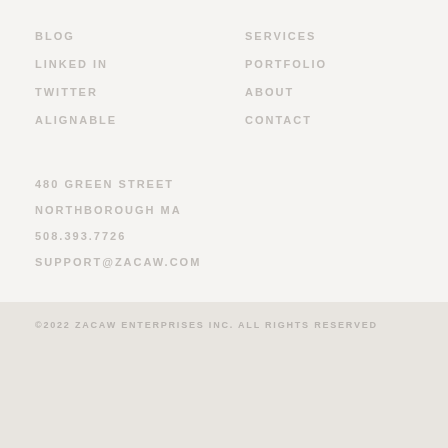BLOG
LINKED IN
TWITTER
ALIGNABLE
SERVICES
PORTFOLIO
ABOUT
CONTACT
480 GREEN STREET
NORTHBOROUGH MA
508.393.7726
SUPPORT@ZACAW.COM
©2022 ZACAW ENTERPRISES INC. ALL RIGHTS RESERVED
[Figure (logo): Zacaw Enterprises logo with lightning bolt Z and text 'enterprises']
TERMS OF SERVICE
Live Chat